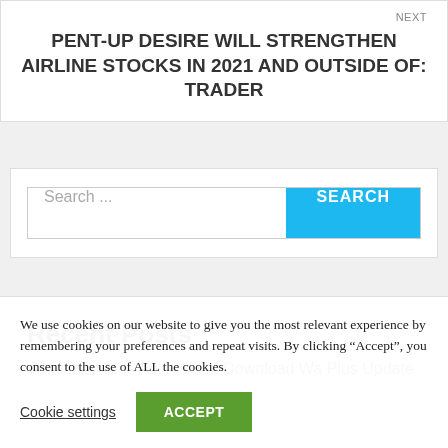NEXT
PENT-UP DESIRE WILL STRENGTHEN AIRLINE STOCKS IN 2021 AND OUTSIDE OF: TRADER
Search ...
Recent Posts
Whatsapp Plus Apk Official Download Wa Plus Update
We use cookies on our website to give you the most relevant experience by remembering your preferences and repeat visits. By clicking “Accept”, you consent to the use of ALL the cookies.
Cookie settings
ACCEPT